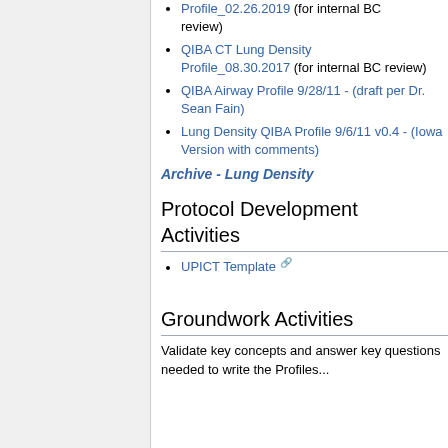Profile_02.26.2019 (for internal BC review)
QIBA CT Lung Density Profile_08.30.2017 (for internal BC review)
QIBA Airway Profile 9/28/11 - (draft per Dr. Sean Fain)
Lung Density QIBA Profile 9/6/11 v0.4 - (Iowa Version with comments)
Archive - Lung Density
Protocol Development Activities
UPICT Template
Groundwork Activities
Validate key concepts and answer key questions needed to write the Profiles...